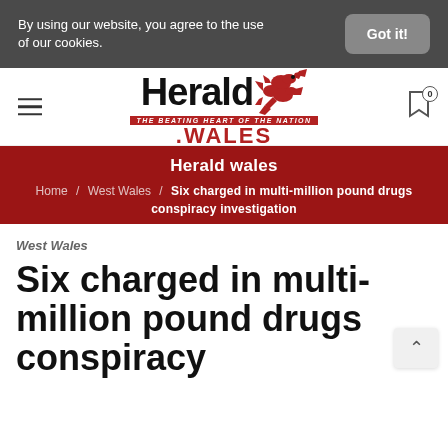By using our website, you agree to the use of our cookies.
Got it!
[Figure (logo): Herald Wales logo with red dragon and red .WALES text]
Herald wales
Home / West Wales / Six charged in multi-million pound drugs conspiracy investigation
West Wales
Six charged in multi-million pound drugs conspiracy